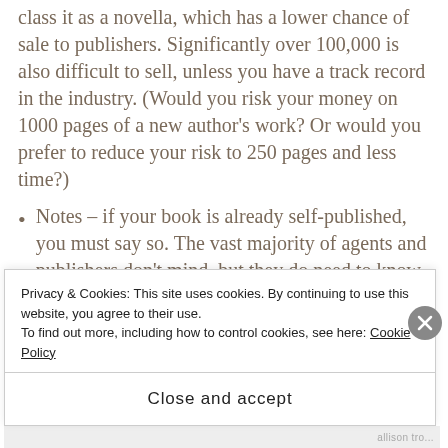class it as a novella, which has a lower chance of sale to publishers. Significantly over 100,000 is also difficult to sell, unless you have a track record in the industry. (Would you risk your money on 1000 pages of a new author's work? Or would you prefer to reduce your risk to 250 pages and less time?)
Notes – if your book is already self-published, you must say so. The vast majority of agents and publishers don't mind, but they do need to know if your work is already on the market, or if it has a profile and sales record behind it.
Biography – tell the agent a little about yourself. What have you written previously? Are you a serious writer
Privacy & Cookies: This site uses cookies. By continuing to use this website, you agree to their use.
To find out more, including how to control cookies, see here: Cookie Policy
Close and accept